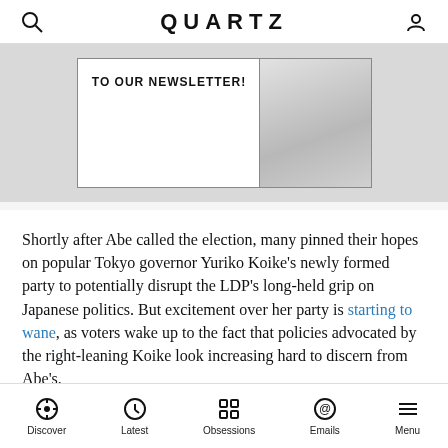QUARTZ
[Figure (other): Newsletter subscription banner with 'TO OUR NEWSLETTER!' text and image area]
Shortly after Abe called the election, many pinned their hopes on popular Tokyo governor Yuriko Koike's newly formed party to potentially disrupt the LDP's long-held grip on Japanese politics. But excitement over her party is starting to wane, as voters wake up to the fact that policies advocated by the right-leaning Koike look increasing hard to discern from Abe's.
Polls show that many voters are still undecided, while the left-leaning opposition has been temporarily
Discover | Latest | Obsessions | Emails | Menu